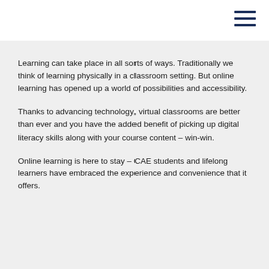Learning can take place in all sorts of ways. Traditionally we think of learning physically in a classroom setting. But online learning has opened up a world of possibilities and accessibility.
Thanks to advancing technology, virtual classrooms are better than ever and you have the added benefit of picking up digital literacy skills along with your course content – win-win.
Online learning is here to stay – CAE students and lifelong learners have embraced the experience and convenience that it offers.